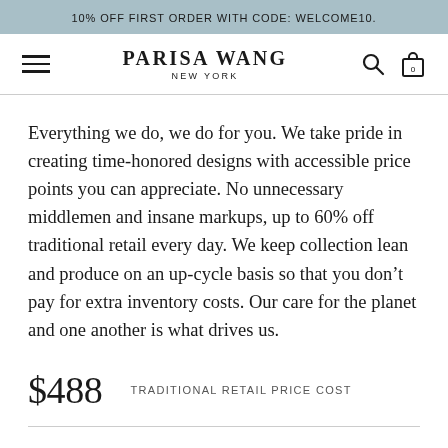10% OFF FIRST ORDER WITH CODE: WELCOME10.
PARISA WANG NEW YORK
Everything we do, we do for you. We take pride in creating time-honored designs with accessible price points you can appreciate. No unnecessary middlemen and insane markups, up to 60% off traditional retail every day. We keep collection lean and produce on an up-cycle basis so that you don't pay for extra inventory costs. Our care for the planet and one another is what drives us.
$488  TRADITIONAL RETAIL PRICE COST